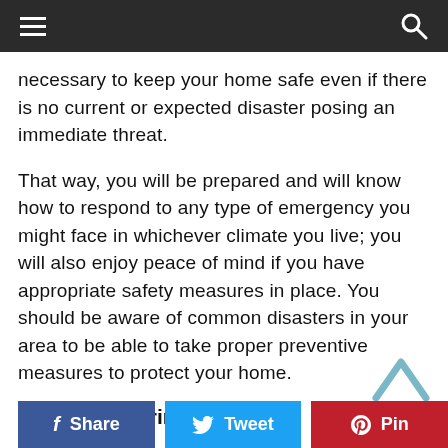Navigation bar with hamburger menu and search icon
necessary to keep your home safe even if there is no current or expected disaster posing an immediate threat.
That way, you will be prepared and will know how to respond to any type of emergency you might face in whichever climate you live; you will also enjoy peace of mind if you have appropriate safety measures in place. You should be aware of common disasters in your area to be able to take proper preventive measures to protect your home.
Sharing is caring!
[Figure (screenshot): Social share buttons: Facebook Share (blue), Twitter Tweet (light blue), Pinterest Pin (red)]